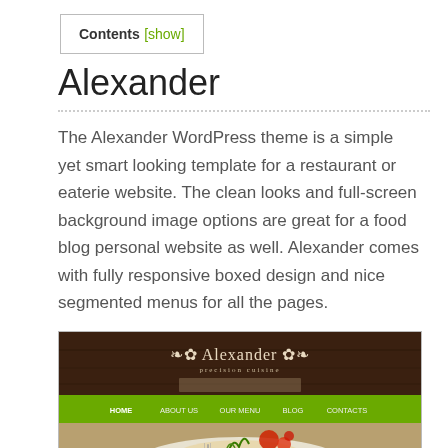Contents [show]
Alexander
The Alexander WordPress theme is a simple yet smart looking template for a restaurant or eaterie website. The clean looks and full-screen background image options are great for a food blog personal website as well. Alexander comes with fully responsive boxed design and nice segmented menus for all the pages.
[Figure (screenshot): Screenshot of the Alexander WordPress theme showing a dark wood-paneled header with the Alexander logo, a green navigation bar with menu items (HOME, ABOUT US, OUR MENU, BLOG, CONTACTS), and a food photograph below.]